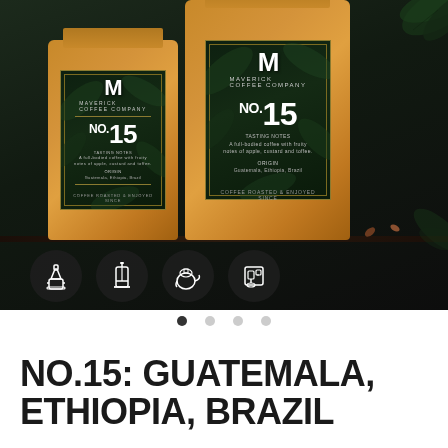[Figure (photo): Two kraft paper coffee bags labeled 'Maverick Coffee Company No.15' with dark green botanical labels showing 'M' logo, displayed on a dark wooden surface with coffee beans scattered around. Four brewing method icons (moka pot, french press, pour-over kettle, espresso machine) appear as dark circular badges in the lower left of the image.]
NO.15: GUATEMALA, ETHIOPIA, BRAZIL